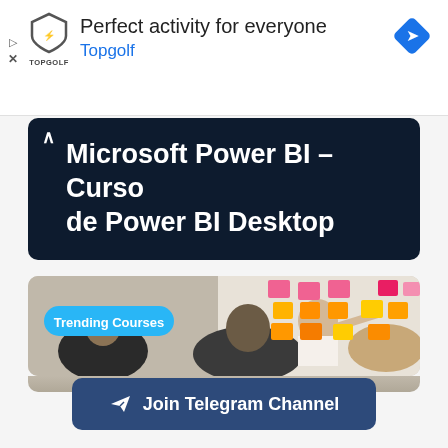[Figure (screenshot): Topgolf advertisement banner with shield logo, headline 'Perfect activity for everyone', and blue link 'Topgolf' with navigation icon]
Microsoft Power BI – Curso de Power BI Desktop
[Figure (photo): Trending Courses photo showing people in an office with colorful sticky notes on a wall]
Join Telegram Channel